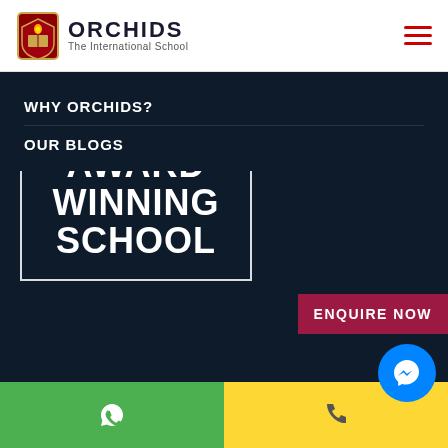[Figure (logo): Orchids The International School logo with emblem and text]
WHY ORCHIDS?
OUR BLOGS
[Figure (illustration): Award Winning School banner with trophy icon inside dark navy hero section]
ENQUIRE NOW
[Figure (infographic): Bottom bar with green WhatsApp section, yellow phone section, and blue Messenger bubble]